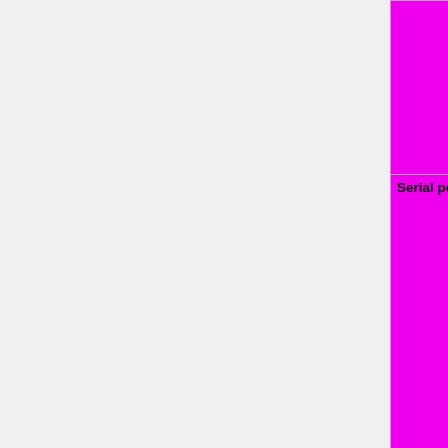| Feature | Status |
| --- | --- |
|  | WIP=orange | Untested=yellow | N/A=lightgray yellow }}" | OK |
| Serial port 2 (COM2) | OK=lime | TODO=red | No=red | WIP=orange | Untested=yellow | N/A=lightgray yellow }}" | N/A |
| Parallel port | OK=lime | TODO=red | No=red | WIP=orange | Untested=yellow | N/A=lightgray yellow }}" | Untested |
| PS/2 keyboard | OK=lime | TODO=red | No=red | WIP=orange | Untested=yellow |